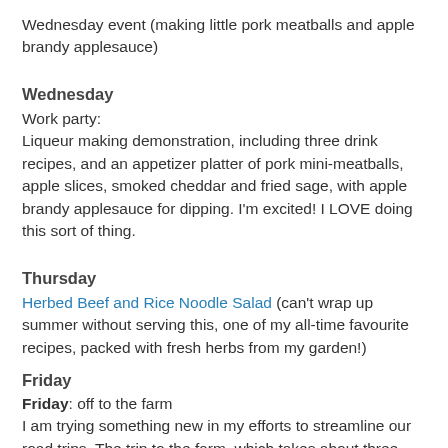Wednesday event (making little pork meatballs and apple brandy applesauce)
Wednesday
Work party:
Liqueur making demonstration, including three drink recipes, and an appetizer platter of pork mini-meatballs, apple slices, smoked cheddar and fried sage, with apple brandy applesauce for dipping. I'm excited! I LOVE doing this sort of thing.
Thursday
Herbed Beef and Rice Noodle Salad (can't wrap up summer without serving this, one of my all-time favourite recipes, packed with fresh herbs from my garden!)
Friday
off to the farm
I am trying something new in my efforts to streamline our road trips. The trip to the farm, which takes about three hours, always overlaps the supper hour if we want to leave right after my husband is done work. We have tried stopping part way to have a sit-down meal in a restaurant, but I noted